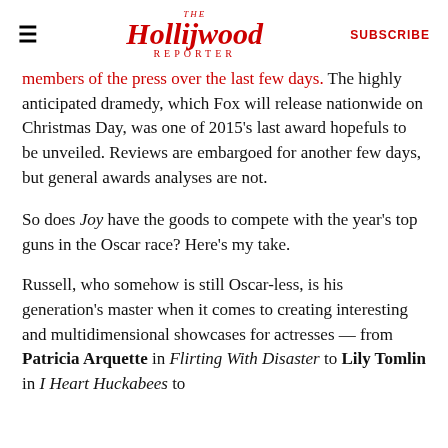THE Hollywood REPORTER | SUBSCRIBE
members of the press over the last few days. The highly anticipated dramedy, which Fox will release nationwide on Christmas Day, was one of 2015's last award hopefuls to be unveiled. Reviews are embargoed for another few days, but general awards analyses are not.
So does Joy have the goods to compete with the year's top guns in the Oscar race? Here's my take.
Russell, who somehow is still Oscar-less, is his generation's master when it comes to creating interesting and multidimensional showcases for actresses — from Patricia Arquette in Flirting With Disaster to Lily Tomlin in I Heart Huckabees to